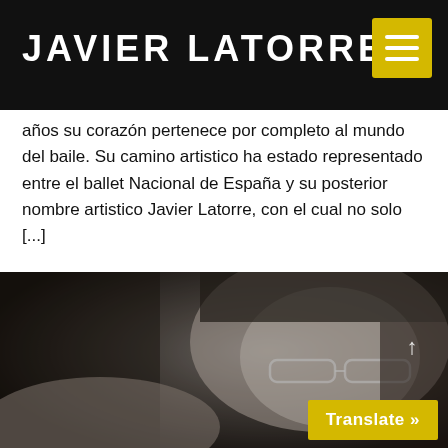JAVIER LATORRE
años su corazón pertenece por completo al mundo del baile. Su camino artistico ha estado representado entre el ballet Nacional de España y su posterior nombre artistico Javier Latorre, con el cual no solo [...]
[Figure (photo): Black and white close-up photograph of a man with glasses and a beard, looking downward thoughtfully, with his hand partially visible in the foreground.]